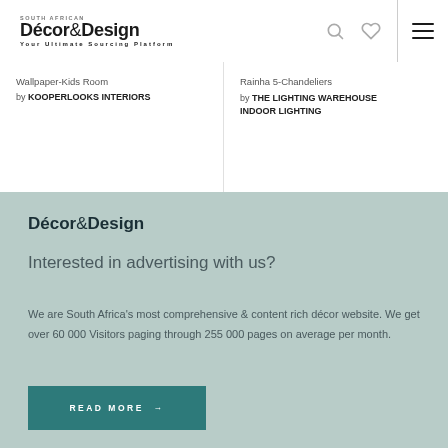Décor&Design — Your Ultimate Sourcing Platform
Wallpaper-Kids Room
by KOOPERLOOKS INTERIORS
Rainha 5-Chandeliers
by THE LIGHTING WAREHOUSE INDOOR LIGHTING
Décor&Design
Interested in advertising with us?
We are South Africa's most comprehensive & content rich décor website. We get over 60 000 Visitors paging through 255 000 pages on average per month.
READ MORE →